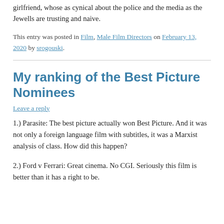girlfriend, whose as cynical about the police and the media as the Jewells are trusting and naive.
This entry was posted in Film, Male Film Directors on February 13, 2020 by srogouski.
My ranking of the Best Picture Nominees
Leave a reply
1.) Parasite: The best picture actually won Best Picture. And it was not only a foreign language film with subtitles, it was a Marxist analysis of class. How did this happen?
2.) Ford v Ferrari: Great cinema. No CGI. Seriously this film is better than it has a right to be.